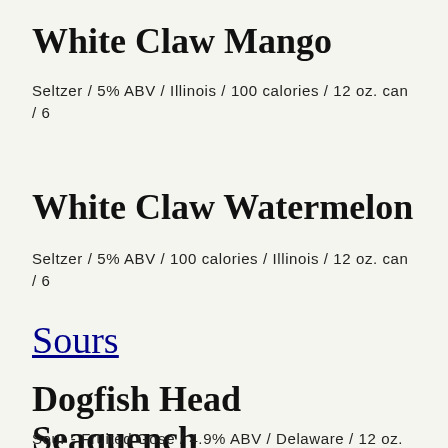White Claw Mango
Seltzer / 5% ABV / Illinois / 100 calories / 12 oz. can / 6
White Claw Watermelon
Seltzer / 5% ABV / 100 calories / Illinois / 12 oz. can / 6
Sours
Dogfish Head Seaquench
Sour - Fruited Gose / 4.9% ABV / Delaware / 12 oz. can / 6